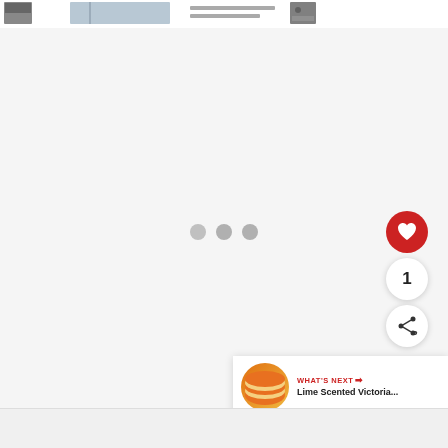[Figure (screenshot): Top navigation strip showing thumbnail images and text snippets from a recipe/lifestyle website]
[Figure (screenshot): Main content area with light gray background showing a loading/carousel state with three gray dots in the center, a red heart like button, a count bubble showing '1', and a share button on the right side]
1
[Figure (screenshot): What's Next card in bottom right: thumbnail of a cake/dessert, label 'WHAT'S NEXT →', title 'Lime Scented Victoria...']
WHAT'S NEXT →
Lime Scented Victoria...